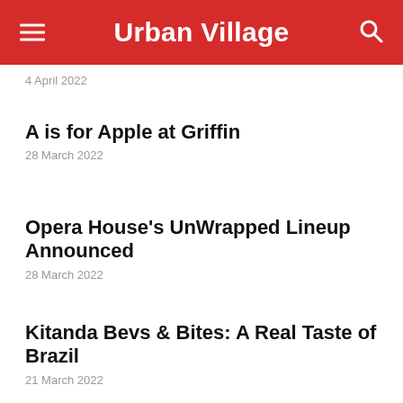Urban Village
4 April 2022
A is for Apple at Griffin
28 March 2022
Opera House's UnWrapped Lineup Announced
28 March 2022
Kitanda Bevs & Bites: A Real Taste of Brazil
21 March 2022
Heroes of the Fourth Turning: Looking Down the Eye of Humanity